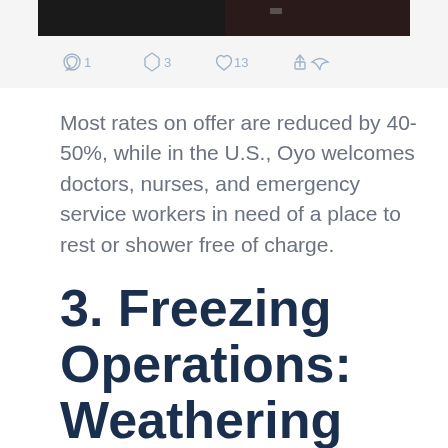[Figure (screenshot): Top portion of a tweet screenshot showing dark images and social interaction icons (reply: 1, retweet: 3, like: 13, share) at the bottom]
Most rates on offer are reduced by 40-50%, while in the U.S., Oyo welcomes doctors, nurses, and emergency service workers in need of a place to rest or shower free of charge.
3. Freezing Operations: Weathering the Storm & Preparing for the